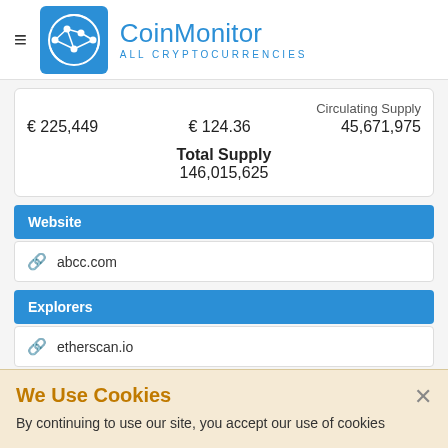CoinMonitor — All CryptoCurrencies
|  |  | Circulating Supply |
| --- | --- | --- |
| € 225,449 | € 124.36 | 45,671,975 |
|  | Total Supply |  |
|  | 146,015,625 |  |
Website
abcc.com
Explorers
etherscan.io
We Use Cookies
By continuing to use our site, you accept our use of cookies